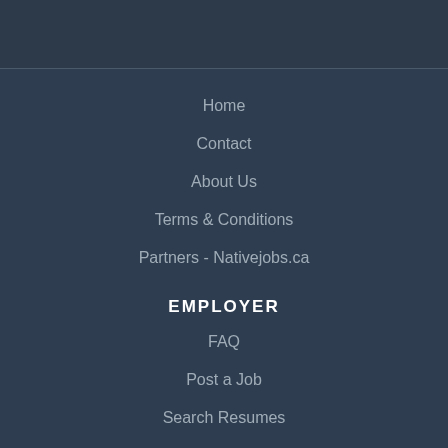Home
Contact
About Us
Terms & Conditions
Partners - Nativejobs.ca
EMPLOYER
FAQ
Post a Job
Search Resumes
Sign in